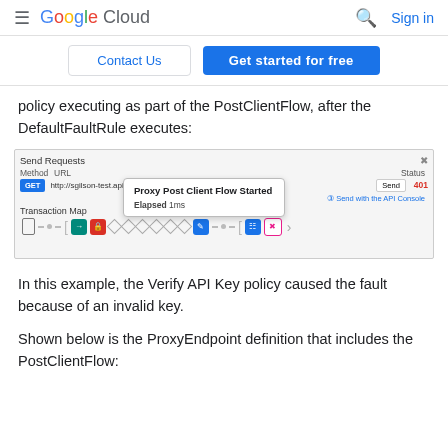Google Cloud  Sign in
Contact Us  Get started for free
policy executing as part of the PostClientFlow, after the DefaultFaultRule executes:
[Figure (screenshot): Google Cloud Apigee Trace tool screenshot showing Send Requests panel with GET request to http://sgilson-test.apigee.net/v1/verifyapike, status 401, and a popup tooltip saying 'Proxy Post Client Flow Started' with Elapsed: 1ms. Below is a Transaction Map with flow icons.]
In this example, the Verify API Key policy caused the fault because of an invalid key.
Shown below is the ProxyEndpoint definition that includes the PostClientFlow: